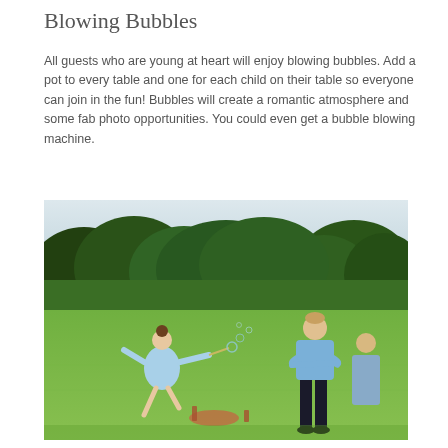Blowing Bubbles
All guests who are young at heart will enjoy blowing bubbles. Add a pot to every table and one for each child on their table so everyone can join in the fun! Bubbles will create a romantic atmosphere and some fab photo opportunities. You could even get a bubble blowing machine.
[Figure (photo): Outdoor garden party scene showing a young girl in a light blue dress running or playing on a lawn, with a man in a blue shirt and dark trousers standing with arms crossed in the background, surrounded by green trees and hedges.]